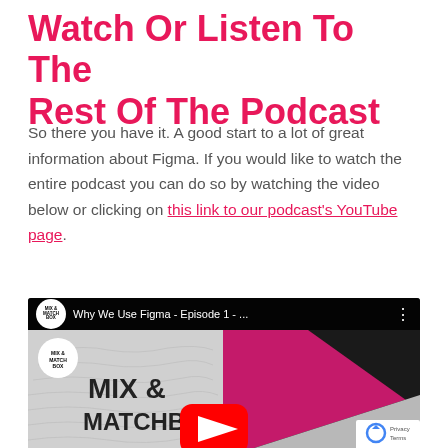Watch Or Listen To The Rest Of The Podcast
So there you have it. A good start to a lot of great information about Figma. If you would like to watch the entire podcast you can do so by watching the video below or clicking on this link to our podcast's YouTube page.
[Figure (screenshot): YouTube video thumbnail showing Mix & Matchbox podcast episode titled 'Why We Use Figma - Episode 1 -...' with a YouTube play button overlay and reCAPTCHA badge in bottom-right corner]